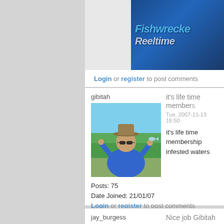[Figure (photo): Fishing website banner with stylized text 'Fishwrecked Reeltime' on dark blue background]
Login or register to post comments
gibitah
[Figure (photo): Photo of a person in a blue shirt and hat holding up a small fish, standing near water with green reeds in background]
Posts: 75
Date Joined: 21/01/07
it's life time members
Tue, 2007-11-13 16:50
it's life time membership
infested waters
Login or register to post comments
jay_burgess
Posts: 4648
Date Joined: 18/08/05
Nice job Gibitah was
Wed, 2007-11-14 16:03
Nice job Gibitah was it a
----------------
Jay Burgess